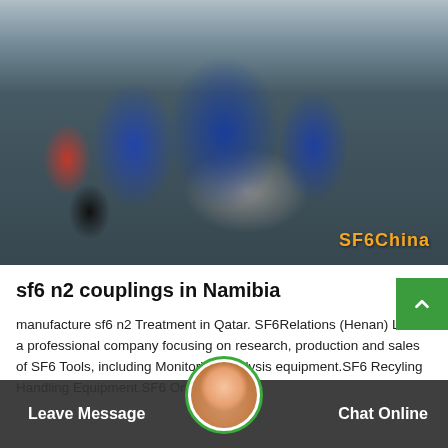[Figure (photo): Workers in blue coveralls and hard hats working on industrial/electrical equipment at a construction or power station site. One worker in a red hard hat is visible in the foreground. A metal frame structure is visible. SF6China watermark in orange bottom-right.]
sf6 n2 couplings in Namibia
manufacture sf6 n2 Treatment in Qatar. SF6Relations (Henan) Ltd. is a professional company focusing on research, production and sales of SF6 Tools, including Monitoring Analysis equipment.SF6 Recyling Handling Equipment.SF6 On-site servic...